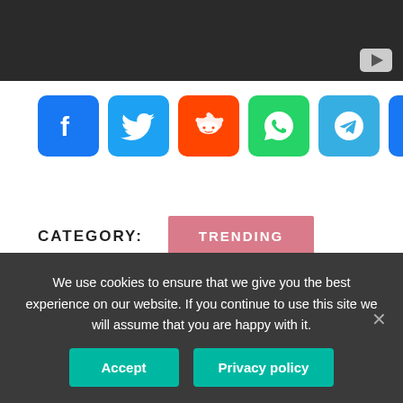[Figure (screenshot): Dark video player bar with YouTube play button icon in bottom right corner]
[Figure (infographic): Social sharing icons row: Facebook (blue), Twitter (light blue), Reddit (orange), WhatsApp (green), Telegram (blue), Messenger (blue), More/Plus (blue gradient)]
CATEGORY:   TRENDING
← PREVIOUS ARTICLE
How long should I bake a
NEXT ARTICLE →
Why does Misty say goodbye to
We use cookies to ensure that we give you the best experience on our website. If you continue to use this site we will assume that you are happy with it.
Accept   Privacy policy